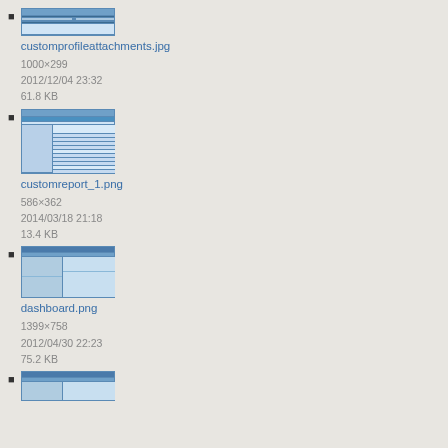customprofileattachments.jpg
1000×299
2012/12/04 23:32
61.8 KB
customreport_1.png
586×362
2014/03/18 21:18
13.4 KB
dashboard.png
1399×758
2012/04/30 22:23
75.2 KB
(partial, continues below)